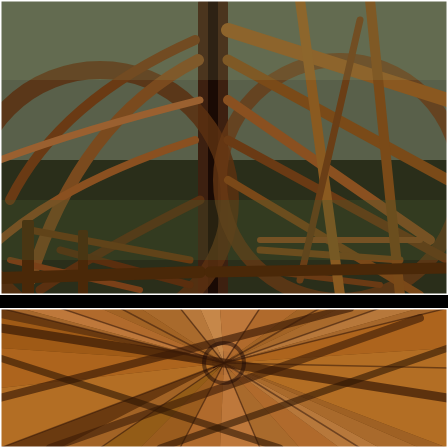[Figure (photo): Exterior view of a rustic wooden structure with curved and angled log beams forming an open-sided pavilion or gazebo framework. The structure features large circular arch elements made from bent wood, with cross-braced log supports. The setting is a grassy outdoor area.]
[Figure (photo): Interior upward view of the same rustic wooden structure's roof, showing radiating cedar or pine plank ceiling panels converging at a central hub point, with natural log rafters branching outward like a wagon wheel or starburst pattern.]